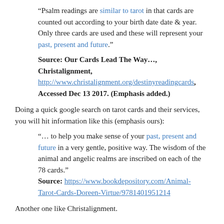“Psalm readings are similar to tarot in that cards are counted out according to your birth date date & year. Only three cards are used and these will represent your past, present and future.”
Source: Our Cards Lead The Way…, Christalignment, http://www.christalignment.org/destinyreadingcards, Accessed Dec 13 2017. (Emphasis added.)
Doing a quick google search on tarot cards and their services, you will hit information like this (emphasis ours):
“… to help you make sense of your past, present and future in a very gentle, positive way. The wisdom of the animal and angelic realms are inscribed on each of the 78 cards.”
Source: https://www.bookdepository.com/Animal-Tarot-Cards-Doreen-Virtue/9781401951214
Another one like Christalignment.